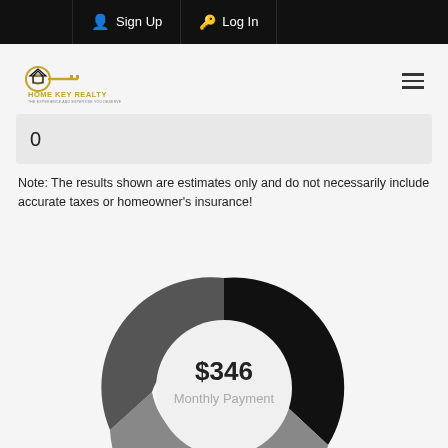Sign Up  Log In
[Figure (logo): Home Key Realty logo with golden key graphic and text 'HOME KEY REALTY - THE EXPERIENCE AND EXPERTISE YOU DESERVE']
0
Note: The results shown are estimates only and do not necessarily include accurate taxes or homeowner's insurance!
[Figure (donut-chart): Donut chart showing $346 Monthly Payment with black, gray, and dark gray segments]